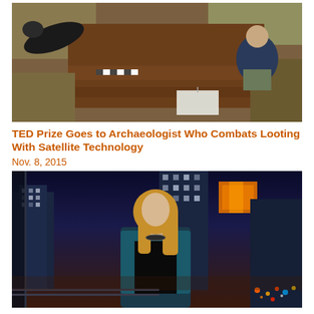[Figure (photo): Aerial/overhead view of an archaeological excavation site showing people examining a dig trench with brown earth exposed, dry grass surrounding, a measuring scale visible, and a sign/marker in the trench.]
TED Prize Goes to Archaeologist Who Combats Looting With Satellite Technology
Nov. 8, 2015
[Figure (photo): A woman with long blonde hair wearing a teal/blue blazer over a black top stands indoors near a window at dusk or night, with city skyline and illuminated buildings visible behind her.]